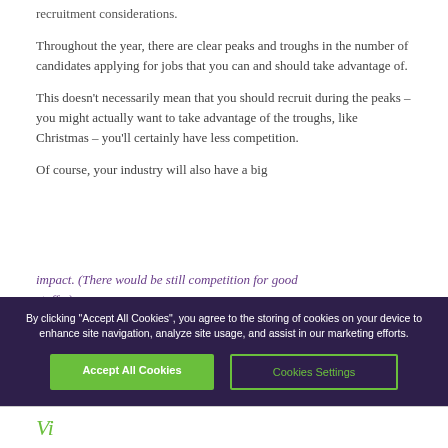recruitment considerations.
Throughout the year, there are clear peaks and troughs in the number of candidates applying for jobs that you can and should take advantage of.
This doesn't necessarily mean that you should recruit during the peaks – you might actually want to take advantage of the troughs, like Christmas – you'll certainly have less competition.
Of course, your industry will also have a big impact. (There would be still competition for good staff...)
By clicking "Accept All Cookies", you agree to the storing of cookies on your device to enhance site navigation, analyze site usage, and assist in our marketing efforts.
Accept All Cookies
Cookies Settings
Vi...